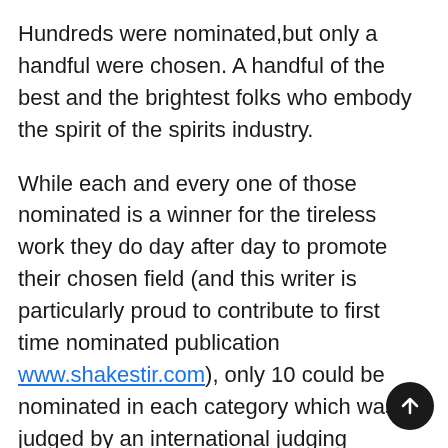Hundreds were nominated,but only a handful were chosen. A handful of the best and the brightest folks who embody the spirit of the spirits industry.
While each and every one of those nominated is a winner for the tireless work they do day after day to promote their chosen field (and this writer is particularly proud to contribute to first time nominated publication www.shakestir.com), only 10 could be nominated in each category which was judged by an international judging committee comprised of the most respected minds in the cocktail industry.
These judges recognized the contributions of ma and are honored to shine a spotlight on the ones